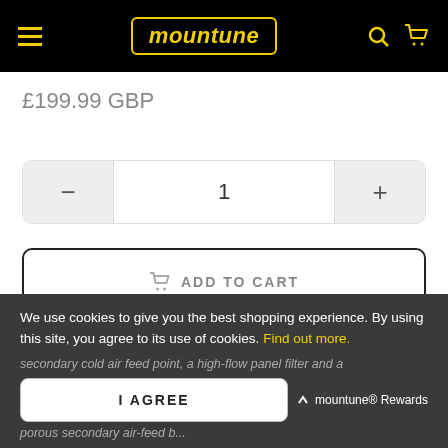mountune
£199.99 GBP
1
ADD TO CART
BUY IT NOW
We use cookies to give you the best shopping experience. By using this site, you agree to its use of cookies. Find out more.
secondary cold air feed point, a high-flow panel filter and a porous secondary air-feed b...
I AGREE
mountune® Rewards